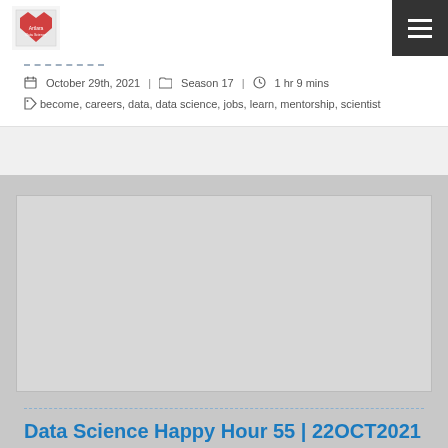Artlara Data Science (logo) | hamburger menu
October 29th, 2021 | Season 17 | 1 hr 9 mins
become, careers, data, data science, jobs, learn, mentorship, scientist
[Figure (photo): Thumbnail image placeholder for Data Science Happy Hour 55 episode]
Data Science Happy Hour 55 | 22OCT2021
October 24th, 2021 | Season 17 | 1 hr 30 mins
become, careers, data, data science, jobs, learn, mentorship, scientist